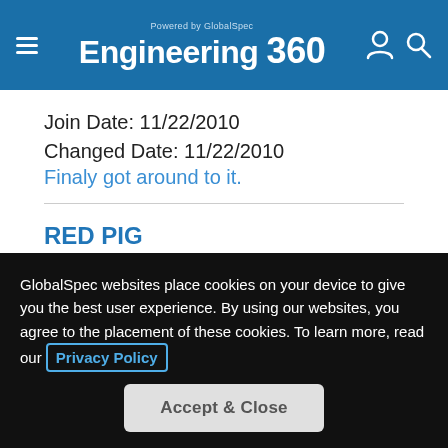Powered by GlobalSpec Engineering 360
Join Date: 11/22/2010
Changed Date: 11/22/2010
Finaly got around to it.
RED PIG
Join Date: 11/06/2010
Changed Date: 11/06/2010
New Member
marcot
Join Date: 09/09/2010
GlobalSpec websites place cookies on your device to give you the best user experience. By using our websites, you agree to the placement of these cookies. To learn more, read our Privacy Policy
Accept & Close